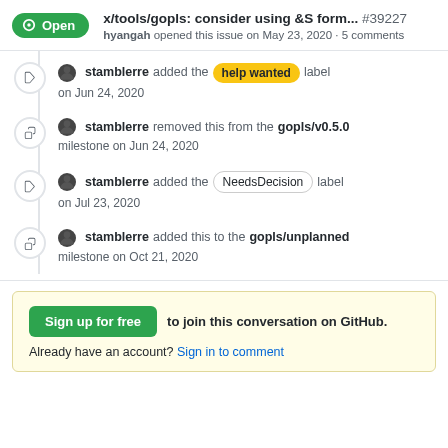x/tools/gopls: consider using &S form... #39227 — hyangah opened this issue on May 23, 2020 · 5 comments
stamblerre added the help wanted label on Jun 24, 2020
stamblerre removed this from the gopls/v0.5.0 milestone on Jun 24, 2020
stamblerre added the NeedsDecision label on Jul 23, 2020
stamblerre added this to the gopls/unplanned milestone on Oct 21, 2020
Sign up for free to join this conversation on GitHub. Already have an account? Sign in to comment